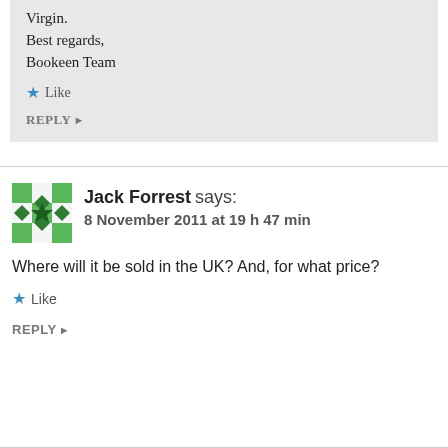Virgin.
Best regards,
Bookeen Team
Like
REPLY ▶
Jack Forrest says:
8 November 2011 at 19 h 47 min
Where will it be sold in the UK? And, for what price?
Like
REPLY ▶